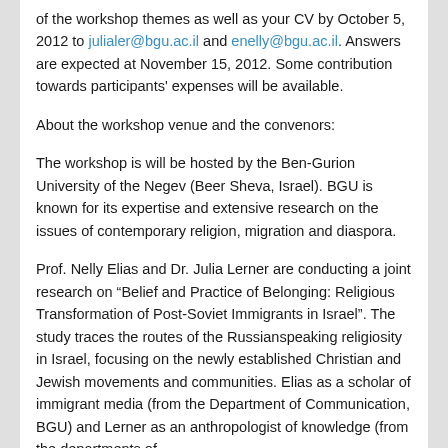of the workshop themes as well as your CV by October 5, 2012 to julialer@bgu.ac.il and enelly@bgu.ac.il. Answers are expected at November 15, 2012. Some contribution towards participants' expenses will be available.
About the workshop venue and the convenors:
The workshop is will be hosted by the Ben-Gurion University of the Negev (Beer Sheva, Israel). BGU is known for its expertise and extensive research on the issues of contemporary religion, migration and diaspora.
Prof. Nelly Elias and Dr. Julia Lerner are conducting a joint research on “Belief and Practice of Belonging: Religious Transformation of Post-Soviet Immigrants in Israel”. The study traces the routes of the Russianspeaking religiosity in Israel, focusing on the newly established Christian and Jewish movements and communities. Elias as a scholar of immigrant media (from the Department of Communication, BGU) and Lerner as an anthropologist of knowledge (from the departments of